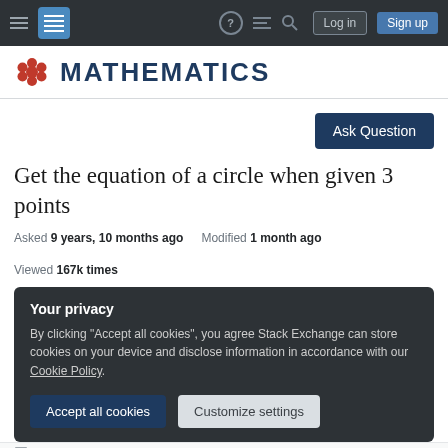Mathematics Stack Exchange navigation bar with Log in and Sign up buttons
MATHEMATICS
Ask Question
Get the equation of a circle when given 3 points
Asked 9 years, 10 months ago   Modified 1 month ago   Viewed 167k times
Your privacy
By clicking "Accept all cookies", you agree Stack Exchange can store cookies on your device and disclose information in accordance with our Cookie Policy.
Accept all cookies   Customize settings